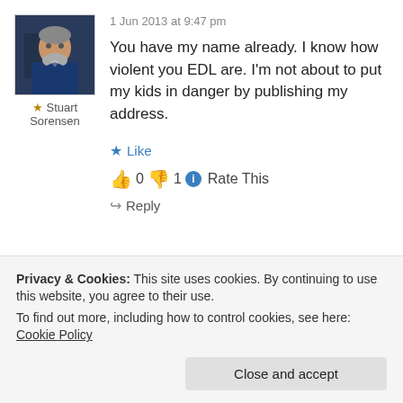1 Jun 2013 at 9:47 pm
[Figure (photo): Profile photo of a middle-aged man with grey beard, wearing dark blue shirt]
★ Stuart Sorensen
You have my name already. I know how violent you EDL are. I'm not about to put my kids in danger by publishing my address.
★ Like
👍 0 👎 1 ℹ Rate This
↪ Reply
1 Jun 2013 at 9:53 pm
Privacy & Cookies: This site uses cookies. By continuing to use this website, you agree to their use. To find out more, including how to control cookies, see here: Cookie Policy
Close and accept